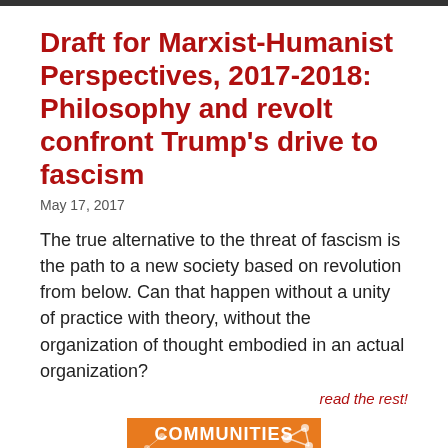[Figure (photo): Narrow dark image bar at top of page]
Draft for Marxist-Humanist Perspectives, 2017-2018: Philosophy and revolt confront Trump's drive to fascism
May 17, 2017
The true alternative to the threat of fascism is the path to a new society based on revolution from below. Can that happen without a unity of practice with theory, without the organization of thought embodied in an actual organization?
read the rest!
[Figure (illustration): Orange book cover illustration with the word COMMUNITIES and figures of people including a person in a lab coat]